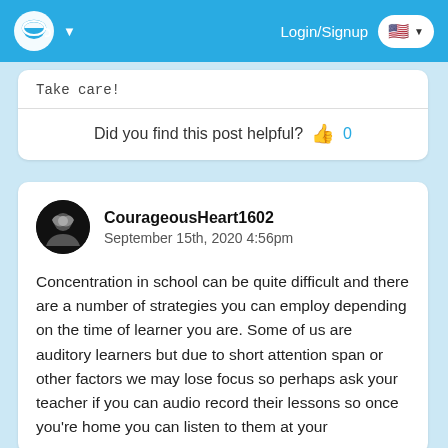Login/Signup
Take care!
Did you find this post helpful? 👍 0
CourageousHeart1602
September 15th, 2020 4:56pm
Concentration in school can be quite difficult and there are a number of strategies you can employ depending on the time of learner you are. Some of us are auditory learners but due to short attention span or other factors we may lose focus so perhaps ask your teacher if you can audio record their lessons so once you're home you can listen to them at your